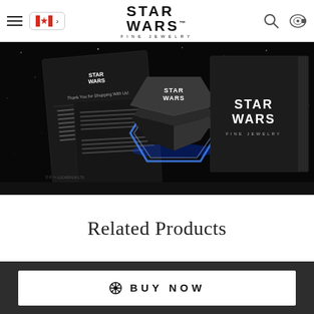Star Wars Fine Jewelry – Navigation header with menu, Canada flag, Star Wars Fine Jewelry logo, search and cart icons
[Figure (photo): Star Wars Fine Jewelry product packaging: a black hexagonal jewelry box glowing with blue light, surrounded by branded cards and a large black Star Wars Fine Jewelry gift box, on a dark starfield background]
Related Products
BUY NOW